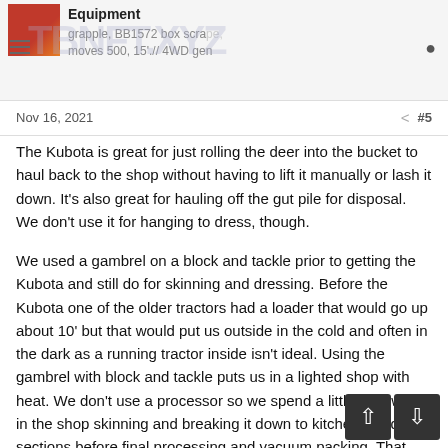Equipment / grapple, BB1572 box scrape, moves 500, 15'.// 4WD gen
Nov 16, 2021  #5
The Kubota is great for just rolling the deer into the bucket to haul back to the shop without having to lift it manually or lash it down. It's also great for hauling off the gut pile for disposal. We don't use it for hanging to dress, though.
We used a gambrel on a block and tackle prior to getting the Kubota and still do for skinning and dressing. Before the Kubota one of the older tractors had a loader that would go up about 10' but that would put us outside in the cold and often in the dark as a running tractor inside isn't ideal. Using the gambrel with block and tackle puts us in a lighted shop with heat. We don't use a processor so we spend a little time with it in the shop skinning and breaking it down to kitchen sized sections before final processing and vacuum packing. That requires some raising and lowering throughout the process thus the "running tractor inside" requirement. Maybe I'm a weenie but I like the light and heat when it's an option